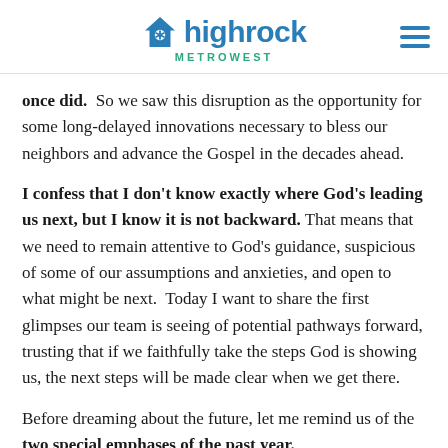highrock METROWEST
once did.  So we saw this disruption as the opportunity for some long-delayed innovations necessary to bless our neighbors and advance the Gospel in the decades ahead.
I confess that I don't know exactly where God's leading us next, but I know it is not backward. That means that we need to remain attentive to God's guidance, suspicious of some of our assumptions and anxieties, and open to what might be next.  Today I want to share the first glimpses our team is seeing of potential pathways forward, trusting that if we faithfully take the steps God is showing us, the next steps will be made clear when we get there.
Before dreaming about the future, let me remind us of the two special emphases of the past year.